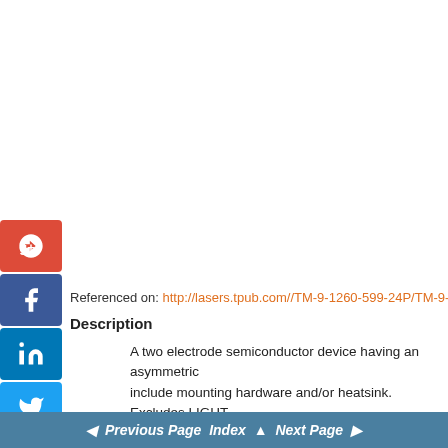[Figure (other): Social media sharing icons bar on left side: Google+, Facebook, LinkedIn, Twitter, Google Groups, StumbleUpon]
Referenced on: http://lasers.tpub.com//TM-9-1260-599-24P/TM-9-1...
Description
A two electrode semiconductor device having an asymmetric... include mounting hardware and/or heatsink. Excludes LIGHT... DEVICE,PHOTO. For items containing material such as sele...